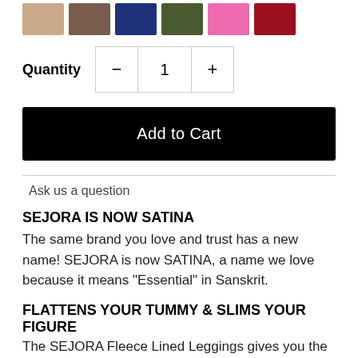[Figure (other): Six color swatches: tan/beige, brown, navy blue, olive green, pink, dark red/crimson]
Quantity  −  1  +
Add to Cart
Ask us a question
SEJORA IS NOW SATINA
The same brand you love and trust has a new name! SEJORA is now SATINA, a name we love because it means "Essential" in Sanskrit.
FLATTENS YOUR TUMMY & SLIMS YOUR FIGURE
The SEJORA Fleece Lined Leggings gives you the